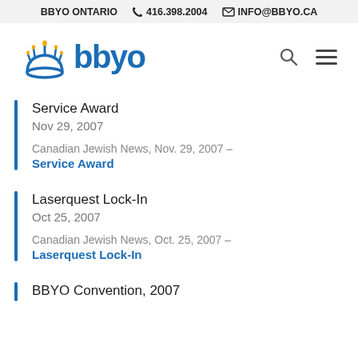BBYO ONTARIO  416.398.2004  INFO@BBYO.CA
[Figure (logo): BBYO logo with menorah-style icon in blue and orange, with the text 'bbyo' in blue]
Service Award
Nov 29, 2007

Canadian Jewish News, Nov. 29, 2007 –
Service Award
Laserquest Lock-In
Oct 25, 2007

Canadian Jewish News, Oct. 25, 2007 –
Laserquest Lock-In
BBYO Convention, 2007